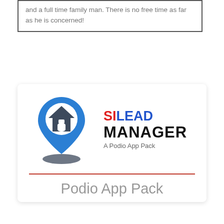and a full time family man. There is no free time as far as he is concerned!
[Figure (logo): SI Lead Manager logo: a blue location pin with a house icon, with text 'SILEAD MANAGER A Podio App Pack']
Podio App Pack